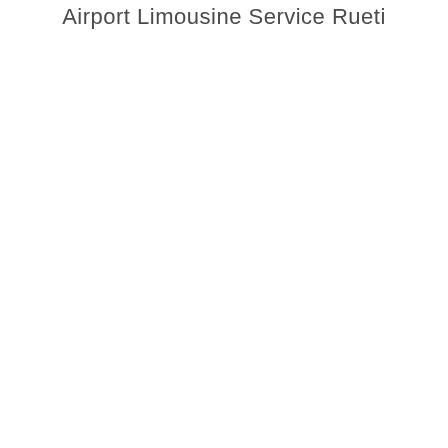Airport Limousine Service Rueti